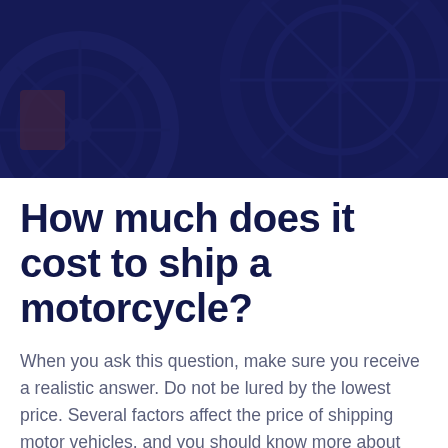[Figure (photo): Dark blue overlaid photo of motorcycle parts/wheels viewed from above, used as a hero banner image]
How much does it cost to ship a motorcycle?
When you ask this question, make sure you receive a realistic answer. Do not be lured by the lowest price. Several factors affect the price of shipping motor vehicles, and you should know more about that before booking a service.